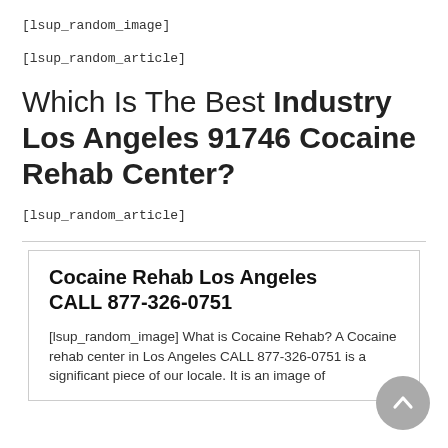[lsup_random_image]
[lsup_random_article]
Which Is The Best Industry Los Angeles 91746 Cocaine Rehab Center?
[lsup_random_article]
Cocaine Rehab Los Angeles CALL 877-326-0751
[lsup_random_image] What is Cocaine Rehab? A Cocaine rehab center in Los Angeles CALL 877-326-0751 is a significant piece of our locale. It is an image of